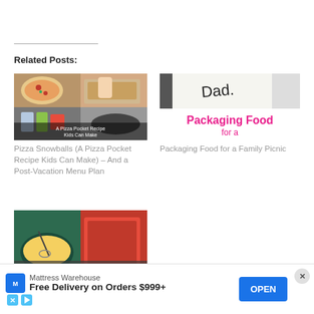Related Posts:
[Figure (photo): Pizza Pocket Recipe image showing pizza making steps with overlay text 'A Pizza Pocket Recipe Kids Can Make']
Pizza Snowballs (A Pizza Pocket Recipe Kids Can Make) – And a Post-Vacation Menu Plan
[Figure (photo): Image with handwritten 'Dad.' text and pink title 'Packaging Food for a Family Picnic']
Packaging Food for a Family Picnic
[Figure (photo): Chicken Parmesan recipe image showing cooking steps]
Chick... Sandw...
Mattress Warehouse
Free Delivery on Orders $999+
OPEN